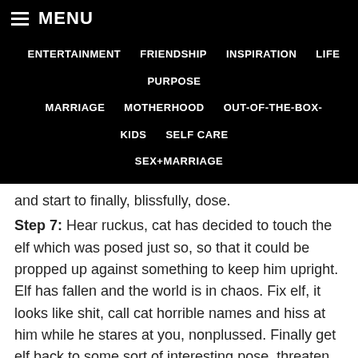MENU
ENTERTAINMENT   FRIENDSHIP   INSPIRATION   LIFE PURPOSE   MARRIAGE   MOTHERHOOD   OUT-OF-THE-BOX-KIDS   SELF CARE   SEX+MARRIAGE
and start to finally, blissfully, dose.
Step 7: Hear ruckus, cat has decided to touch the elf which was posed just so, so that it could be propped up against something to keep him upright. Elf has fallen and the world is in chaos. Fix elf, it looks like shit, call cat horrible names and hiss at him while he stares at you, nonplussed. Finally get elf back to some sort of interesting pose, threaten cat who is still not scared of you in the least.
Step 8: Stomp off to bed, stepping on Lego, busting toe, tripping on sock, etc., on the way. Think hate thoughts about the elf and wonder